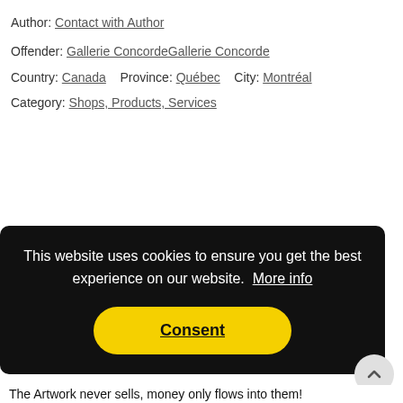Author: Contact with Author
Offender: Gallerie ConcordeGallerie Concorde
Country: Canada    Province: Québec    City: Montréal
Category: Shops, Products, Services
This website uses cookies to ensure you get the best experience on our website.  More info
Consent
The Artwork never sells, money only flows into them!